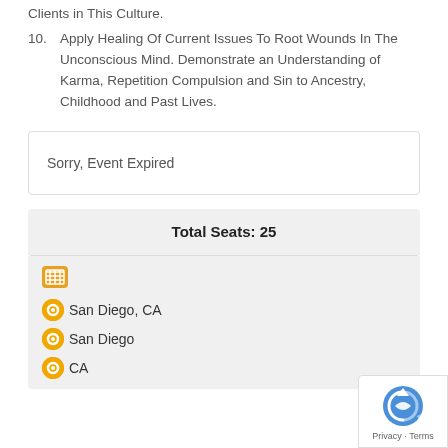Clients in This Culture.
10. Apply Healing Of Current Issues To Root Wounds In The Unconscious Mind. Demonstrate an Understanding of Karma, Repetition Compulsion and Sin to Ancestry, Childhood and Past Lives.
Sorry, Event Expired
Total Seats: 25
San Diego, CA
San Diego
CA